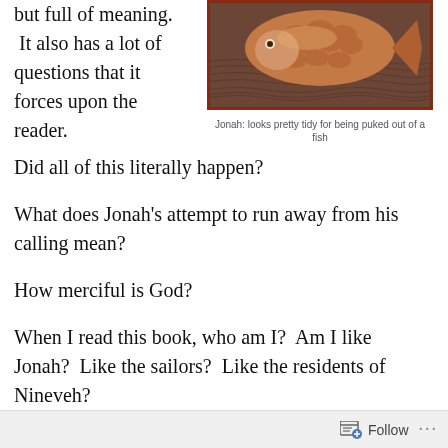but full of meaning. It also has a lot of questions that it forces upon the reader.
[Figure (photo): Image of Jonah depicted in a carved or painted artwork showing a fish/sea creature in reddish-brown tones]
Jonah: looks pretty tidy for being puked out of a fish
Did all of this literally happen?
What does Jonah's attempt to run away from his calling mean?
How merciful is God?
When I read this book, who am I?  Am I like Jonah?  Like the sailors?  Like the residents of Nineveh?
Is this book saying something about Israel?  About
Follow ...